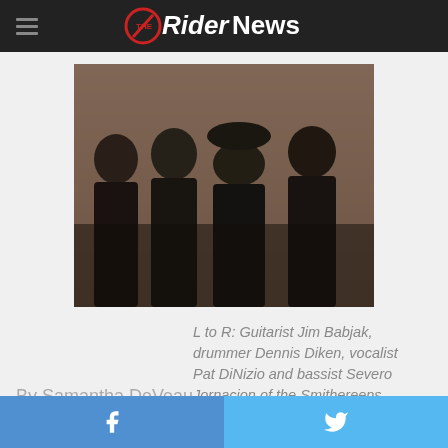The Rider News
[Figure (photo): Four members of the Smithereens band posing in front of a brick wall, dressed in dark clothing]
L to R: Guitarist Jim Babjak, drummer Dennis Diken, vocalist Pat DiNizio and bassist Severo Jornacion of the Smithereens.
By Samantha DeVeau